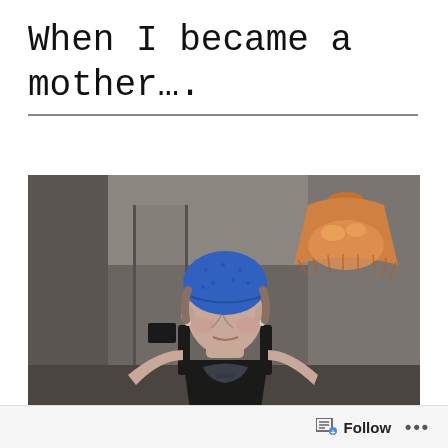When I became a mother….
[Figure (photo): A young woman wearing a blue bandana on her head and a black spaghetti-strap top with a chest tattoo, standing indoors with a warm orange pendant lamp visible in the background on the right, and a dark wall/room behind her.]
Follow ...